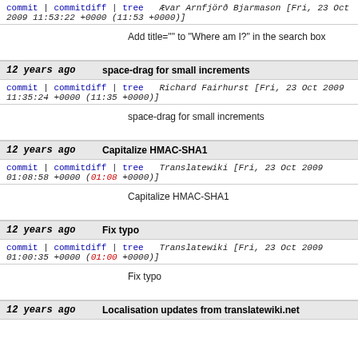commit | commitdiff | tree   Ævar Arnfjörð Bjarmason [Fri, 23 Oct 2009 11:53:22 +0000 (11:53 +0000)]
Add title="" to "Where am I?" in the search box
12 years ago   space-drag for small increments
commit | commitdiff | tree   Richard Fairhurst [Fri, 23 Oct 2009 11:35:24 +0000 (11:35 +0000)]
space-drag for small increments
12 years ago   Capitalize HMAC-SHA1
commit | commitdiff | tree   Translatewiki [Fri, 23 Oct 2009 01:08:58 +0000 (01:08 +0000)]
Capitalize HMAC-SHA1
12 years ago   Fix typo
commit | commitdiff | tree   Translatewiki [Fri, 23 Oct 2009 01:00:35 +0000 (01:00 +0000)]
Fix typo
12 years ago   Localisation updates from translatewiki.net